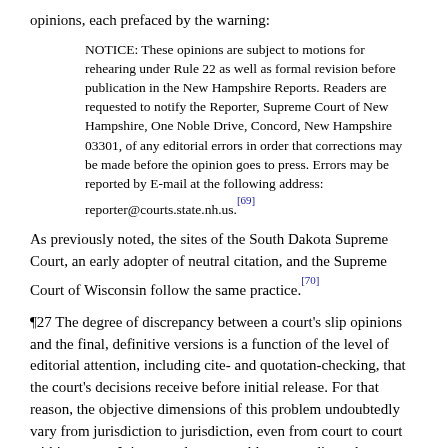opinions, each prefaced by the warning:
NOTICE: These opinions are subject to motions for rehearing under Rule 22 as well as formal revision before publication in the New Hampshire Reports. Readers are requested to notify the Reporter, Supreme Court of New Hampshire, One Noble Drive, Concord, New Hampshire 03301, of any editorial errors in order that corrections may be made before the opinion goes to press. Errors may be reported by E-mail at the following address: reporter@courts.state.nh.us.[69]
As previously noted, the sites of the South Dakota Supreme Court, an early adopter of neutral citation, and the Supreme Court of Wisconsin follow the same practice.[70]
¶27 The degree of discrepancy between a court's slip opinions and the final, definitive versions is a function of the level of editorial attention, including cite- and quotation-checking, that the court's decisions receive before initial release. For that reason, the objective dimensions of this problem undoubtedly vary from jurisdiction to jurisdiction, even from court to court within a state. It is not so large a problem as to dissuade commercial online services from loading slip opinions from state Internet sites and adding citation information,